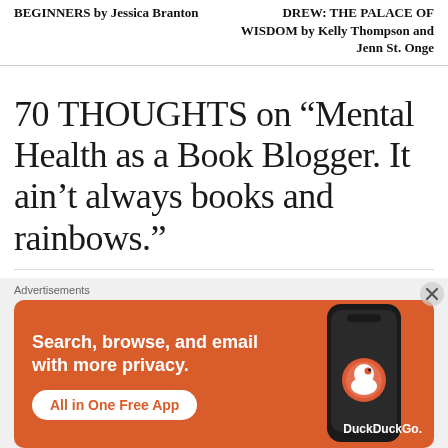BEGINNERS by Jessica Branton
DREW: THE PALACE OF WISDOM by Kelly Thompson and Jenn St. Onge
70 THOUGHTS ON “Mental Health as a Book Blogger. It ain’t always books and rainbows.”
[Figure (screenshot): DuckDuckGo advertisement banner with orange background showing text 'Search, browse, and email with more privacy. All in One Free App' with a phone mockup and DuckDuckGo logo]